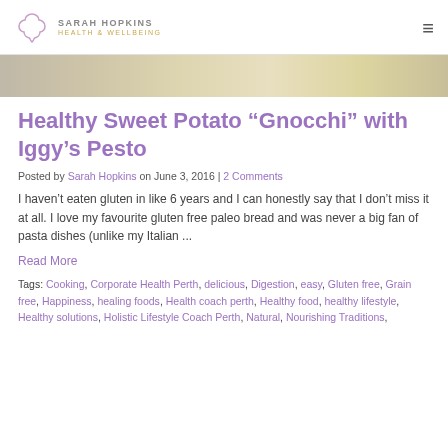SARAH HOPKINS HEALTH & WELLBEING
[Figure (photo): Hero image with warm beige/golden tones]
Healthy Sweet Potato “Gnocchi” with Iggy’s Pesto
Posted by Sarah Hopkins on June 3, 2016 | 2 Comments
I haven’t eaten gluten in like 6 years and I can honestly say that I don’t miss it at all. I love my favourite gluten free paleo bread and was never a big fan of pasta dishes (unlike my Italian ...
Read More
Tags: Cooking, Corporate Health Perth, delicious, Digestion, easy, Gluten free, Grain free, Happiness, healing foods, Health coach perth, Healthy food, healthy lifestyle, Healthy solutions, Holistic Lifestyle Coach Perth, Natural, Nourishing Traditions,